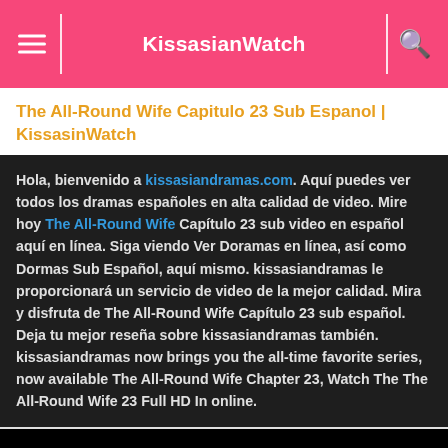KissasianWatch
The All-Round Wife Capitulo 23 Sub Espanol | KissasinWatch
Hola, bienvenido a kissasiandramas.com. Aquí puedes ver todos los dramas españoles en alta calidad de video. Mire hoy The All-Round Wife Capítulo 23 sub video en español aquí en línea. Siga viendo Ver Doramas en línea, así como Dormas Sub Español, aquí mismo. kissasiandramas le proporcionará un servicio de video de la mejor calidad. Mira y disfruta de The All-Round Wife Capítulo 23 sub español. Deja tu mejor reseña sobre kissasiandramas también. kissasiandramas now brings you the all-time favorite series, now available The All-Round Wife Chapter 23, Watch The The All-Round Wife 23 Full HD In online.
[Figure (other): Black video player area]